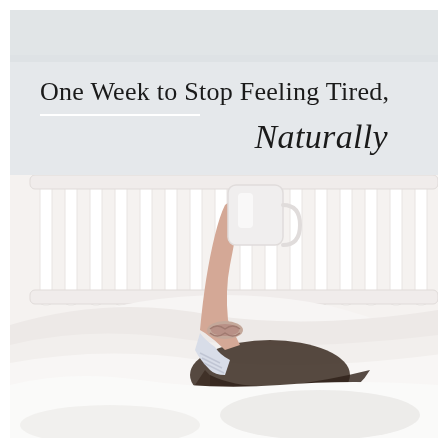One Week to Stop Feeling Tired, Naturally
[Figure (photo): A woman lying in a white bed with white pillows and bedding, her arm raised holding a white ceramic mug. She has a scrunchie on her wrist and her face is partially obscured by pillows. White bed frame visible in the background.]